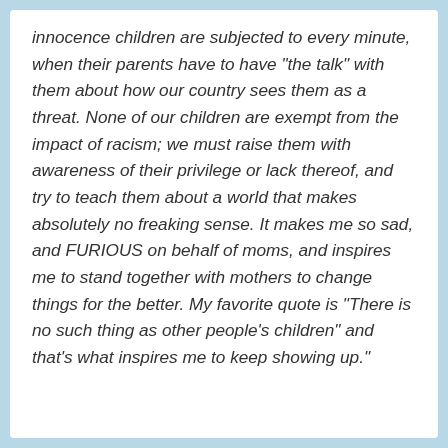innocence children are subjected to every minute, when their parents have to have "the talk" with them about how our country sees them as a threat. None of our children are exempt from the impact of racism; we must raise them with awareness of their privilege or lack thereof, and try to teach them about a world that makes absolutely no freaking sense. It makes me so sad, and FURIOUS on behalf of moms, and inspires me to stand together with mothers to change things for the better. My favorite quote is "There is no such thing as other people's children" and that's what inspires me to keep showing up."